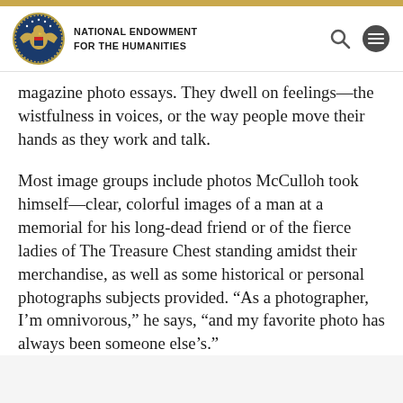NATIONAL ENDOWMENT FOR THE HUMANITIES
magazine photo essays. They dwell on feelings—the wistfulness in voices, or the way people move their hands as they work and talk.
Most image groups include photos McCulloh took himself—clear, colorful images of a man at a memorial for his long-dead friend or of the fierce ladies of The Treasure Chest standing amidst their merchandise, as well as some historical or personal photographs subjects provided. “As a photographer, I’m omnivorous,” he says, “and my favorite photo has always been someone else’s.”